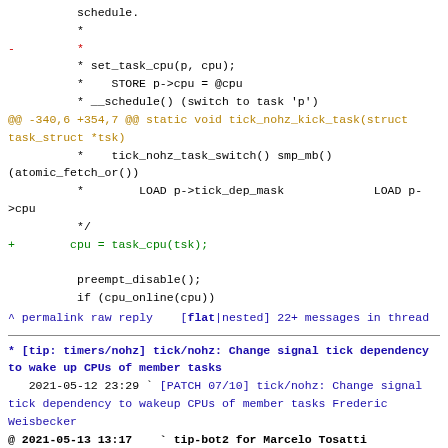code diff block showing schedule/tick_nohz code
^ permalink raw reply [flat|nested] 22+ messages in thread
* [tip: timers/nohz] tick/nohz: Change signal tick dependency to wake up CPUs of member tasks
2021-05-12 23:29 ` [PATCH 07/10] tick/nohz: Change signal tick dependency to wakeup CPUs of member tasks Frederic Weisbecker
@ 2021-05-13 13:17   ` tip-bot2 for Marcelo Tosatti
  0 siblings, 0 replies; 22+ messages in thread
From: tip-bot2 for Marcelo Tosatti @ 2021-05-13 13:17 UTC (permalink / raw)